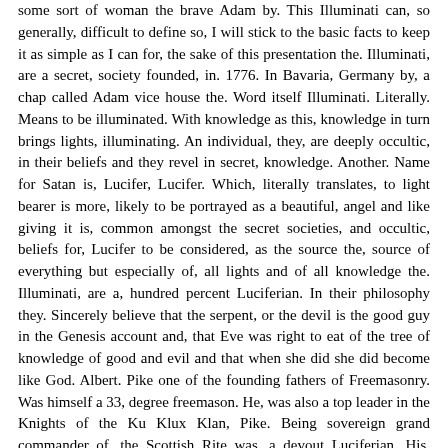some sort of woman the brave Adam by. The Illuminati can, so generally, difficult to define so, I will stick to the basic facts to keep it as simple as I can for, the sake of this presentation the. Illuminati, are a secret, society founded, in. 1776. In Bavaria, Germany by, a chap called Adam vice house the. Word itself Illuminati. Literally. Means to be illuminated. With knowledge as this, knowledge in turn brings lights, illuminating. An individual, they, are deeply occultic, in their beliefs and they revel in secret, knowledge. Another. Name for Satan is, Lucifer, Lucifer. Which, literally translates, to light bearer is more, likely to be portrayed as a beautiful, angel and like giving it is, common amongst the secret societies, and occultic, beliefs for, Lucifer to be considered, as the source the, source of everything but especially of, all lights and of all knowledge the. Illuminati, are a, hundred percent Luciferian. In their philosophy they. Sincerely believe that the serpent, or the devil is the good guy in the Genesis account and, that Eve was right to eat of the tree of knowledge of good and evil and that when she did she did become like God. Albert. Pike one of the founding fathers of Freemasonry. Was himself a 33, degree freemason. He, was also a top leader in the Knights of the Ku Klux Klan, Pike. Being sovereign grand commander of, the Scottish Rite was, a devout Luciferian. His, famous works morals, and Dogma in 1871. Is still, today considered, to be the handbook or study guide for the Scottish Rite within Freemasonry. This. Is a direct quote from Albert Pike's works morals, and Dogma open. Quote, Lucifer. The Light Bearer strange. And mysterious name, to give to the spirit of darkness, Lucifer. The son of the morning is it he who bears the light doubt, it not in quote. However. The Bible contradicts. This teaching, it exposes, Lucifer. As being Satan, open, quote and no, wonder for even Satan himself disguises. Himself as an angel of light close. Quote the. Esoteric, symbol, to present Lucifer, is traditionally. The lightning bolt this, is reference, seeing Jesus's, words in Luke chapter 10 verse 18, where he says quote and I, saw Satan fall like lightning from, heaven unquote. It. Has not confirmed how, many people belong to the Illuminati, according. To a credible, ex Illuminati, member